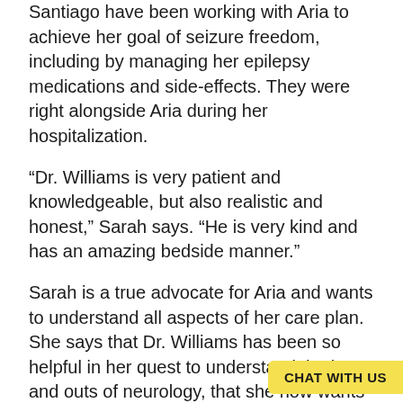Santiago have been working with Aria to achieve her goal of seizure freedom, including by managing her epilepsy medications and side-effects. They were right alongside Aria during her hospitalization.
“Dr. Williams is very patient and knowledgeable, but also realistic and honest,” Sarah says. “He is very kind and has an amazing bedside manner.”
Sarah is a true advocate for Aria and wants to understand all aspects of her care plan. She says that Dr. Williams has been so helpful in her quest to understand the ins and outs of neurology, that she now wants to go back to school for neuro research.
Dr. Santiago was instrumental in creating a bridge plan for Aria. Illness of any kind, including a fever, is especially dangerous for Aria because of her epilepsy. Dr. Santiago’s plan included preventive small doses of rescue medication to prevent c